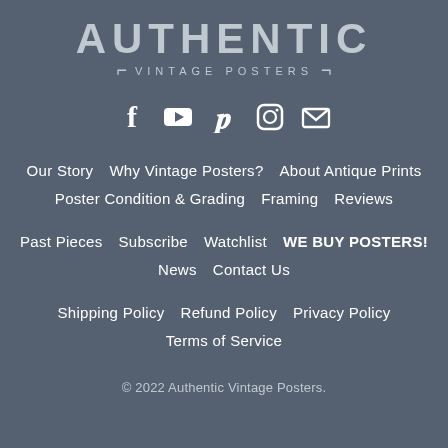[Figure (logo): Authentic Vintage Posters logo with large bold text 'AUTHENTIC' and smaller 'VINTAGE POSTERS' with bracket decoration]
[Figure (infographic): Social media icons row: Facebook, YouTube, Pinterest, Instagram, Email]
Our Story   Why Vintage Posters?   About Antique Prints
Poster Condition & Grading   Framing   Reviews
Past Pieces   Subscribe   Watchlist   WE BUY POSTERS!
News   Contact Us
Shipping Policy   Refund Policy   Privacy Policy
Terms of Service
© 2022 Authentic Vintage Posters.